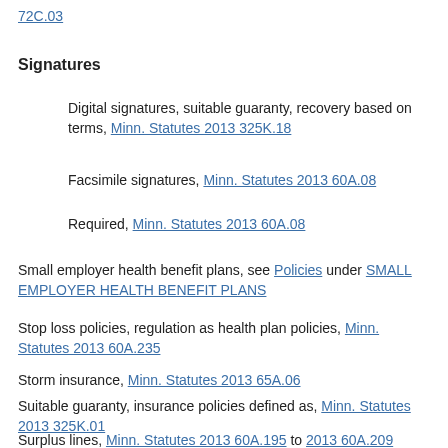72C.03
Signatures
Digital signatures, suitable guaranty, recovery based on terms, Minn. Statutes 2013 325K.18
Facsimile signatures, Minn. Statutes 2013 60A.08
Required, Minn. Statutes 2013 60A.08
Small employer health benefit plans, see Policies under SMALL EMPLOYER HEALTH BENEFIT PLANS
Stop loss policies, regulation as health plan policies, Minn. Statutes 2013 60A.235
Storm insurance, Minn. Statutes 2013 65A.06
Suitable guaranty, insurance policies defined as, Minn. Statutes 2013 325K.01
Surplus lines, Minn. Statutes 2013 60A.195 to 2013 60A.209